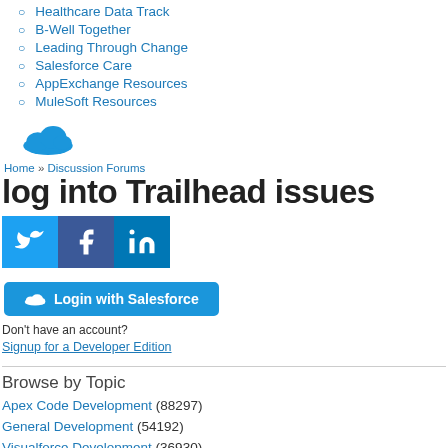Healthcare Data Track
B-Well Together
Leading Through Change
Salesforce Care
AppExchange Resources
MuleSoft Resources
[Figure (logo): Salesforce cloud logo]
Home » Discussion Forums
log into Trailhead issues
[Figure (infographic): Social media share icons: Twitter, Facebook, LinkedIn]
Login with Salesforce
Don't have an account?
Signup for a Developer Edition
Browse by Topic
Apex Code Development (88297)
General Development (54192)
Visualforce Development (36930)
Lightning (16638)
APIs and Integration (16259)
Trailhead (11449)
Formulas & Validation Rules Discussion (10866)